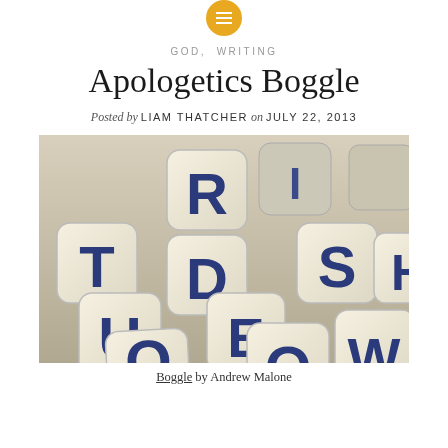GOD, WRITING
Apologetics Boggle
Posted by LIAM THATCHER on JULY 22, 2013
[Figure (photo): A pile of Boggle letter dice scattered on a surface, showing letters including R, I, T, D, U, E, S, H, O, O, W in blue on cream/white dice faces.]
Boggle by Andrew Malone